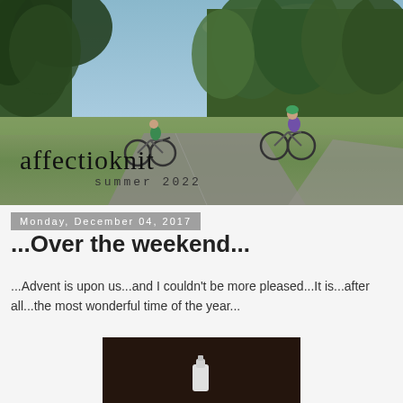[Figure (photo): Blog header photo showing two children riding bicycles on a park path surrounded by green trees and grass. Blog name 'affectioknit' and subtitle 'summer 2022' overlaid on bottom left of photo.]
Monday, December 04, 2017
...Over the weekend...
...Advent is upon us...and I couldn't be more pleased...It is...after all...the most wonderful time of the year...
[Figure (photo): Dark photo showing what appears to be a small white bottle or container against a dark brown background.]